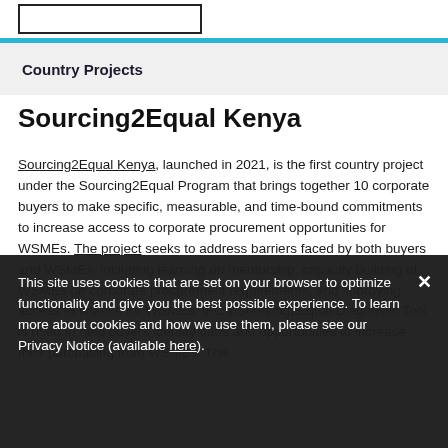[Figure (logo): Rectangular logo box outline in top-left corner]
Country Projects
Sourcing2Equal Kenya
Sourcing2Equal Kenya, launched in 2021, is the first country project under the Sourcing2Equal Program that brings together 10 corporate buyers to make specific, measurable, and time-bound commitments to increase access to corporate procurement opportunities for WSMEs. The project seeks to address barriers faced by both buyers and WSMEs, including learning on mentorship, capacity building of WSMEs on corporate procurement requirements, and improving access to finance for WSMEs. IFC's Sourcing2Equal Diagnostic Tool is used to help buyers identify gaps and opportunities to increase their purchasing from WSMEs. The
This site uses cookies that are set on your browser to optimize functionality and give you the best possible experience. To learn more about cookies and how we use them, please see our Privacy Notice (available here).